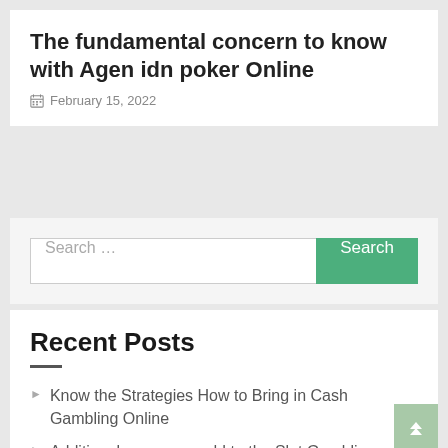The fundamental concern to know with Agen idn poker Online
February 15, 2022
Search …
Recent Posts
Know the Strategies How to Bring in Cash Gambling Online
Additional areas can add to the Slot Gambling